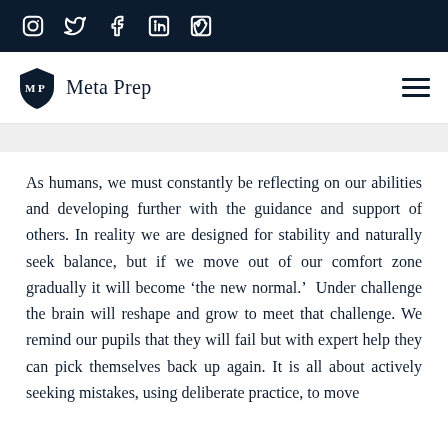Social media icons: Instagram, Twitter, Facebook, LinkedIn, Vimeo
[Figure (logo): Meta Prep logo with shield icon containing M and P letters, alongside the text 'Meta Prep']
As humans, we must constantly be reflecting on our abilities and developing further with the guidance and support of others. In reality we are designed for stability and naturally seek balance, but if we move out of our comfort zone gradually it will become ‘the new normal.’  Under challenge the brain will reshape and grow to meet that challenge. We remind our pupils that they will fail but with expert help they can pick themselves back up again. It is all about actively seeking mistakes, using deliberate practice, to move